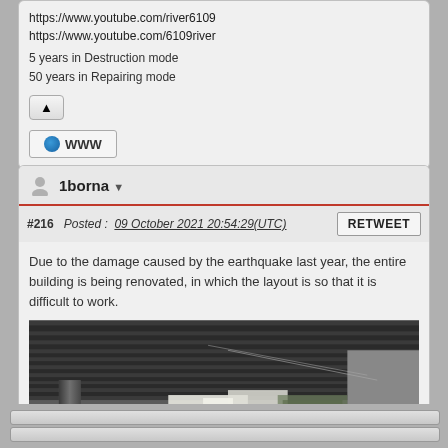https://www.youtube.com/river6109
https://www.youtube.com/6109river
5 years in Destruction mode
50 years in Repairing mode
1borna
#216  Posted : 09 October 2021 20:54:29(UTC)
Due to the damage caused by the earthquake last year, the entire building is being renovated, in which the layout is so that it is difficult to work.
[Figure (photo): Construction/renovation photo showing industrial ceiling with metal beams, pipes, white sheeting/tarps, and outdoor area with trees visible in background.]